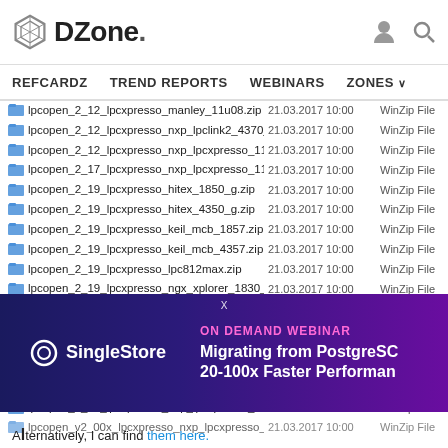DZone. — REFCARDZ  TREND REPORTS  WEBINARS  ZONES
lpcopen_2_12_lpcxpresso_manley_11u08.zip  21.03.2017 10:00  WinZip File
lpcopen_2_12_lpcxpresso_nxp_lpclink2_4370_g.zip  21.03.2017 10:00  WinZip File
lpcopen_2_12_lpcxpresso_nxp_lpcxpresso_11u68.zip  21.03.2017 10:00  WinZip File
lpcopen_2_17_lpcxpresso_nxp_lpcxpresso_1125.zip  21.03.2017 10:00  WinZip File
lpcopen_2_19_lpcxpresso_hitex_1850_g.zip  21.03.2017 10:00  WinZip File
lpcopen_2_19_lpcxpresso_hitex_4350_g.zip  21.03.2017 10:00  WinZip File
lpcopen_2_19_lpcxpresso_keil_mcb_1857.zip  21.03.2017 10:00  WinZip File
lpcopen_2_19_lpcxpresso_keil_mcb_4357.zip  21.03.2017 10:00  WinZip File
lpcopen_2_19_lpcxpresso_lpc812max.zip  21.03.2017 10:00  WinZip File
lpcopen_2_19_lpcxpresso_ngx_xplorer_1830_g.zip  21.03.2017 10:00  WinZip File
lpcopen_2_19_lpcxpresso_ngx_xplorer_4330_g.zip  21.03.2017 10:00  WinZip File
lpcopen_2_19_lpcxpresso_nxp_lpcxpresso_812.zip  21.03.2017 10:00  WinZip File (highlighted)
lpcopen_2_19_lpcxpresso_nxp_lpcxpresso_824.zip  21.03.2017 10:00  WinZip File (highlighted)
lpcopen_2_19_lpcxpresso_nxp_lpcxpresso_1837.zip  21.03.2017 10:00  WinZip File
lpcopen_2_19_lpcxpresso_nxp_lpcxpresso_4337.zip  21.03.2017 10:00  WinZip File
lpcopen_2_20_lpcxpresso_nxp_lpcxpresso_1549.zip  21.03.2017 10:00  WinZip File
lpcopen_v2_00x_lpcxpresso_nxp_lpcxpresso_1c31.zip  21.03.2017 ...  WinZip File
[Figure (screenshot): SingleStore ON DEMAND WEBINAR ad banner: Migrating from PostgreSC... 20-100x Faster Performan...]
Alternatively, I can find them here.